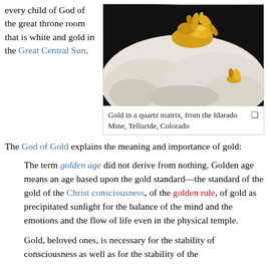every child of God of the great throne room that is white and gold in the Great Central Sun.
[Figure (photo): Gold nuggets in a white quartz matrix, photographed close-up showing bright yellow gold formations embedded in white crystalline quartz rock, with dark background.]
Gold in a quartz matrix, from the Idarado Mine, Telluride, Colorado
The God of Gold explains the meaning and importance of gold:
The term golden age did not derive from nothing. Golden age means an age based upon the gold standard—the standard of the gold of the Christ consciousness, of the golden rule, of gold as precipitated sunlight for the balance of the mind and the emotions and the flow of life even in the physical temple.
Gold, beloved ones, is necessary for the stability of consciousness as well as for the stability of the